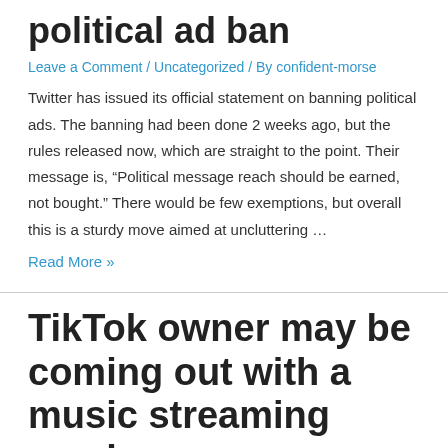political ad ban
Leave a Comment / Uncategorized / By confident-morse
Twitter has issued its official statement on banning political ads. The banning had been done 2 weeks ago, but the rules released now, which are straight to the point. Their message is, “Political message reach should be earned, not bought.” There would be few exemptions, but overall this is a sturdy move aimed at uncluttering …
Read More »
TikTok owner may be coming out with a music streaming service